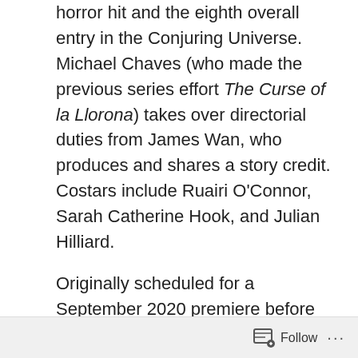horror hit and the eighth overall entry in the Conjuring Universe. Michael Chaves (who made the previous series effort The Curse of la Llorona) takes over directorial duties from James Wan, who produces and shares a story credit. Costars include Ruairi O'Connor, Sarah Catherine Hook, and Julian Hilliard.
Originally scheduled for a September 2020 premiere before its COVID delay, Devil will attempt to reach an opening weekend gross commensurate with its predecessors. That could be a helluva task. Both pics with Conjuring in the title made just over $40 million for their starts. The first
Follow ···